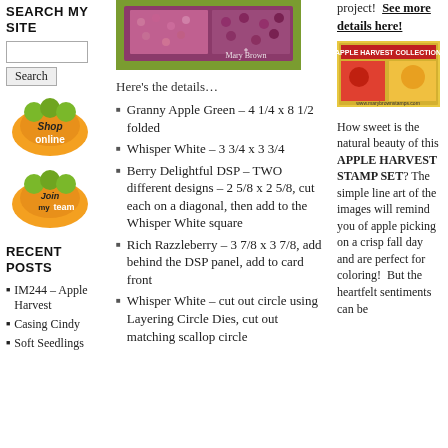SEARCH MY SITE
Search
[Figure (illustration): Shop Online badge with orange circle and green leaves]
[Figure (illustration): Join My Team badge with orange circle and green leaves]
RECENT POSTS
IM244 – Apple Harvest
Casing Cindy
Soft Seedlings
[Figure (photo): Card project photo showing Mary Brown stamped card with berry/purple patterned design paper on green base, watermark 'Mary Brown']
Here's the details…
Granny Apple Green – 4 1/4 x 8 1/2 folded
Whisper White – 3 3/4 x 3 3/4
Berry Delightful DSP – TWO different designs – 2 5/8 x 2 5/8, cut each on a diagonal, then add to the Whisper White square
Rich Razzleberry – 3 7/8 x 3 7/8, add behind the DSP panel, add to card front
Whisper White – cut out circle using Layering Circle Dies, cut out matching scallop circle
project!  See more details here!
[Figure (illustration): Apple Harvest Collection product image with red and yellow apple imagery]
How sweet is the natural beauty of this APPLE HARVEST STAMP SET? The simple line art of the images will remind you of apple picking on a crisp fall day and are perfect for coloring!   But the heartfelt sentiments can be